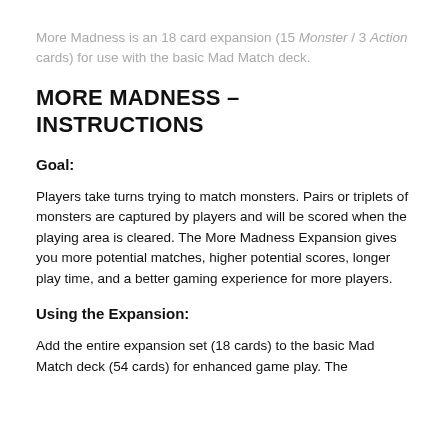More Madness is an 18 card expansion (15 Monster / 3 Action cards) for use with the basic Mad Match deck.
MORE MADNESS – INSTRUCTIONS
Goal:
Players take turns trying to match monsters. Pairs or triplets of monsters are captured by players and will be scored when the playing area is cleared. The More Madness Expansion gives you more potential matches, higher potential scores, longer play time, and a better gaming experience for more players.
Using the Expansion:
Add the entire expansion set (18 cards) to the basic Mad Match deck (54 cards) for enhanced game play. The